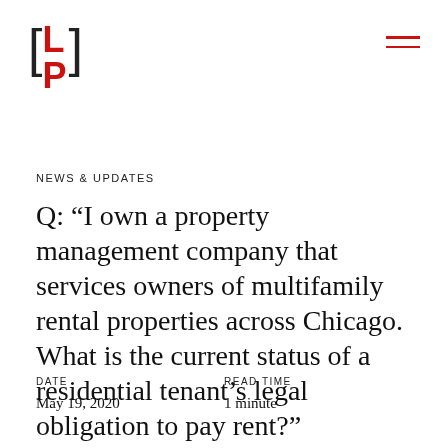LP [logo]
NEWS & UPDATES
Q: “I own a property management company that services owners of multifamily rental properties across Chicago. What is the current status of a residential tenant’s legal obligation to pay rent?”
DATE
May 19, 2020
READ TIME
1 minute